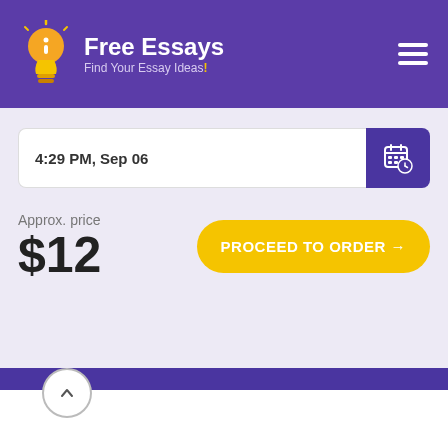Free Essays — Find Your Essay Ideas!
4:29 PM, Sep 06
Approx. price
$12
PROCEED TO ORDER →